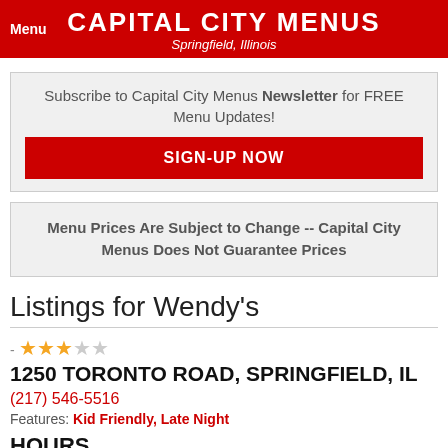CAPITAL CITY MENUS
Springfield, Illinois
Menu
Subscribe to Capital City Menus Newsletter for FREE Menu Updates!
SIGN-UP NOW
Menu Prices Are Subject to Change -- Capital City Menus Does Not Guarantee Prices
Listings for Wendy's
- ★★★☆☆
1250 TORONTO ROAD, SPRINGFIELD, IL
(217) 546-5516
Features: Kid Friendly, Late Night
HOURS